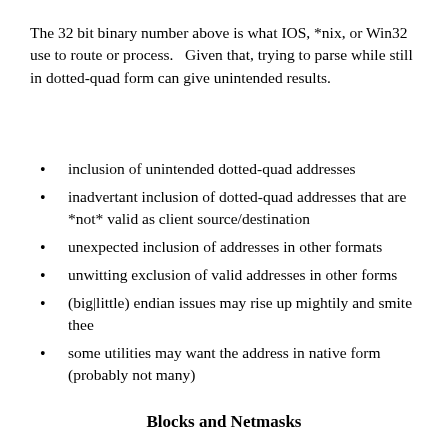The 32 bit binary number above is what IOS, *nix, or Win32 use to route or process.   Given that, trying to parse while still in dotted-quad form can give unintended results.
inclusion of unintended dotted-quad addresses
inadvertant inclusion of dotted-quad addresses that are *not* valid as client source/destination
unexpected inclusion of addresses in other formats
unwitting exclusion of valid addresses in other forms
(big|little) endian issues may rise up mightily and smite thee
some utilities may want the address in native form (probably not many)
Blocks and Netmasks